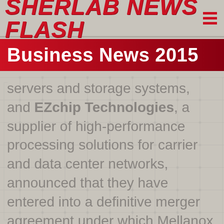Sherlab News Flash
Business News 2015
servers and storage systems, and EZchip Technologies, a supplier of high-performance processing solutions for carrier and data center networks, announced that they have entered into a definitive merger agreement under which Mellanox shall acquire 100 percent of EZchip's outstanding ordinary